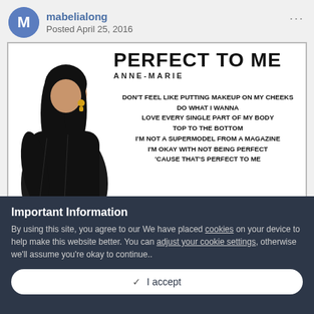mabelialong — Posted April 25, 2016
[Figure (illustration): Social media post image showing a woman in a black coat posing beside lyrics for 'Perfect To Me' by Anne-Marie. Title reads 'PERFECT TO ME', artist 'ANNE-MARIE', lyrics: DON'T FEEL LIKE PUTTING MAKEUP ON MY CHEEKS / DO WHAT I WANNA / LOVE EVERY SINGLE PART OF MY BODY / TOP TO THE BOTTOM / I'M NOT A SUPERMODEL FROM A MAGAZINE / I'M OKAY WITH NOT BEING PERFECT / 'CAUSE THAT'S PERFECT TO ME]
Important Information
By using this site, you agree to our We have placed cookies on your device to help make this website better. You can adjust your cookie settings, otherwise we'll assume you're okay to continue..
✓  I accept